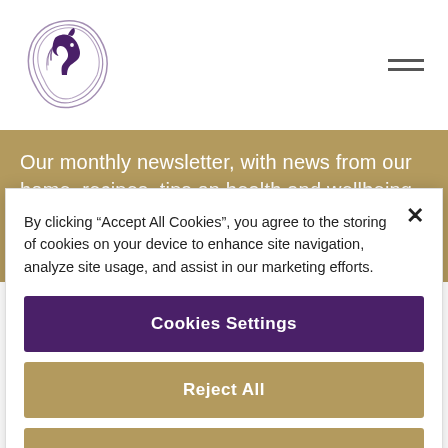[Figure (logo): Cumnor Hill House logo — stylized horse head with flowing lines in purple/dark violet, circular emblem]
Our monthly newsletter, with news from our home, recipes, tips on health and wellbeing, conversations around care and events open to all at Cumnor Hill House.
By clicking “Accept All Cookies”, you agree to the storing of cookies on your device to enhance site navigation, analyze site usage, and assist in our marketing efforts.
Cookies Settings
Reject All
Accept All Cookies